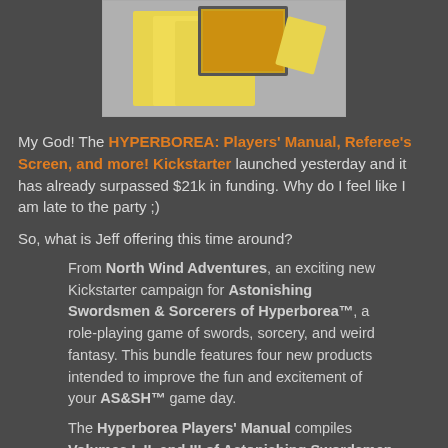[Figure (photo): Product photo showing yellow card/pamphlet materials for HYPERBOREA game, spread out on a gray surface with box visible]
My God! The HYPERBOREA: Players' Manual, Referee's Screen, and more! Kickstarter launched yesterday and it has already surpassed $21k in funding. Why do I feel like I am late to the party ;)
So, what is Jeff offering this time around?
From North Wind Adventures, an exciting new Kickstarter campaign for Astonishing Swordsmen & Sorcerers of Hyperborea™, a role-playing game of swords, sorcery, and weird fantasy. This bundle features four new products intended to improve the fun and excitement of your AS&SH™ game day.
The Hyperborea Players' Manual compiles Volumes I, II, and III of Astonishing Swordsmen & Sorcerers of Hyperborea, as